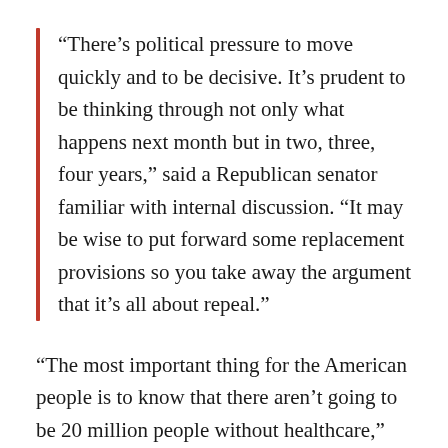“There’s political pressure to move quickly and to be decisive. It’s prudent to be thinking through not only what happens next month but in two, three, four years,” said a Republican senator familiar with internal discussion. “It may be wise to put forward some replacement provisions so you take away the argument that it’s all about repeal.”
“The most important thing for the American people is to know that there aren’t going to be 20 million people without healthcare,” added GOP Senator Dean Heller, who is up for reelection in a swing state